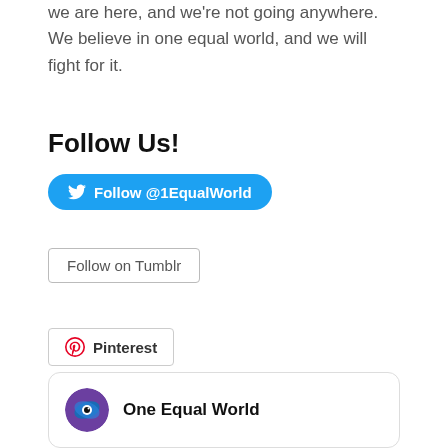we are here, and we're not going anywhere. We believe in one equal world, and we will fight for it.
Follow Us!
[Figure (other): Twitter follow button labeled 'Follow @1EqualWorld' with blue background and Twitter bird icon]
[Figure (other): Tumblr follow button with border, labeled 'Follow on Tumblr']
[Figure (other): Pinterest follow button with border and Pinterest logo icon, labeled 'Pinterest']
[Figure (other): Card widget showing 'One Equal World' with circular avatar logo (blue/purple eye graphic)]